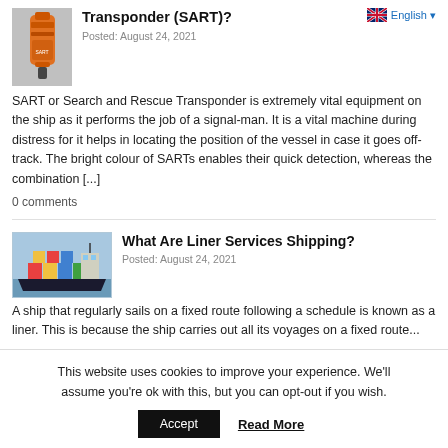Transponder (SART)?
Posted: August 24, 2021
English
SART or Search and Rescue Transponder is extremely vital equipment on the ship as it performs the job of a signal-man. It is a vital machine during distress for it helps in locating the position of the vessel in case it goes off-track. The bright colour of SARTs enables their quick detection, whereas the combination [...]
0 comments
[Figure (photo): Orange SART device]
[Figure (photo): Container ship on water]
What Are Liner Services Shipping?
Posted: August 24, 2021
A ship that regularly sails on a fixed route following a schedule is known as a liner. This is because the ship carries out all its voyages on a fixed route...
This website uses cookies to improve your experience. We'll assume you're ok with this, but you can opt-out if you wish.